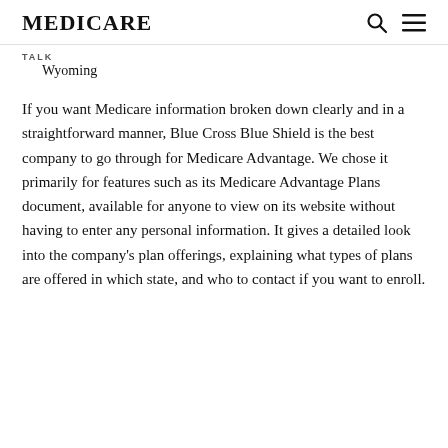MEDICARE
TALK
Wyoming
If you want Medicare information broken down clearly and in a straightforward manner, Blue Cross Blue Shield is the best company to go through for Medicare Advantage. We chose it primarily for features such as its Medicare Advantage Plans document, available for anyone to view on its website without having to enter any personal information. It gives a detailed look into the company's plan offerings, explaining what types of plans are offered in which state, and who to contact if you want to enroll.